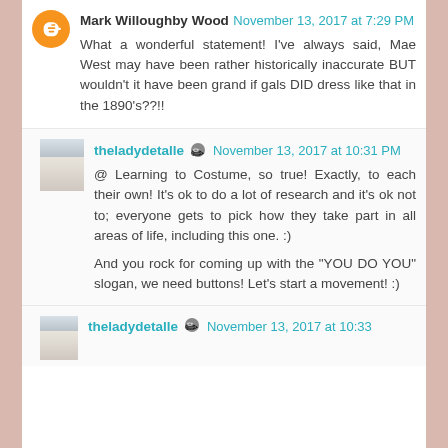Mark Willoughby Wood November 13, 2017 at 7:29 PM
What a wonderful statement! I've always said, Mae West may have been rather historically inaccurate BUT wouldn't it have been grand if gals DID dress like that in the 1890's??!!
theladydetalle November 13, 2017 at 10:31 PM
@ Learning to Costume, so true! Exactly, to each their own! It's ok to do a lot of research and it's ok not to; everyone gets to pick how they take part in all areas of life, including this one. :)
And you rock for coming up with the "YOU DO YOU" slogan, we need buttons! Let's start a movement! :)
theladydetalle November 13, 2017 at 10:33